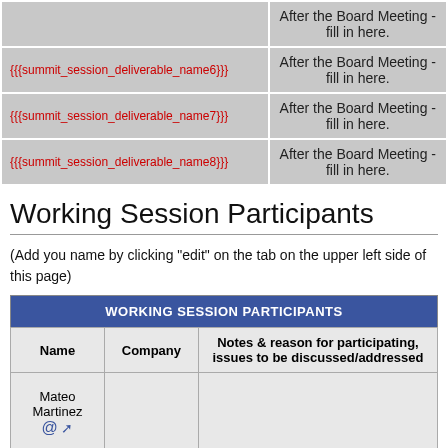|  | After the Board Meeting - fill in here. |
| --- | --- |
|  | After the Board Meeting - fill in here. |
| {{{summit_session_deliverable_name6}}} | After the Board Meeting - fill in here. |
| {{{summit_session_deliverable_name7}}} | After the Board Meeting - fill in here. |
| {{{summit_session_deliverable_name8}}} | After the Board Meeting - fill in here. |
Working Session Participants
(Add you name by clicking "edit" on the tab on the upper left side of this page)
| WORKING SESSION PARTICIPANTS |
| --- |
| Name | Company | Notes & reason for participating, issues to be discussed/addressed |
| Mateo Martinez @ |  |  |